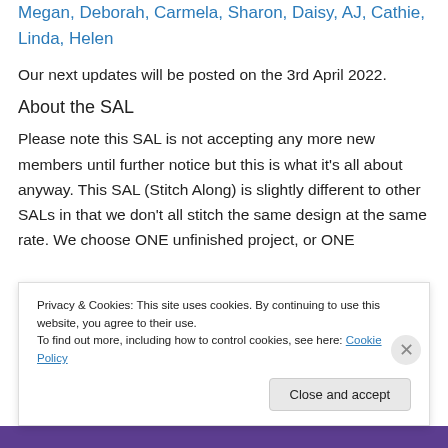Megan, Deborah, Carmela, Sharon, Daisy, AJ, Cathie, Linda, Helen
Our next updates will be posted on the 3rd April 2022.
About the SAL
Please note this SAL is not accepting any more new members until further notice but this is what it’s all about anyway. This SAL (Stitch Along) is slightly different to other SALs in that we don’t all stitch the same design at the same rate. We choose ONE unfinished project, or ONE
Privacy & Cookies: This site uses cookies. By continuing to use this website, you agree to their use.
To find out more, including how to control cookies, see here: Cookie Policy
Close and accept